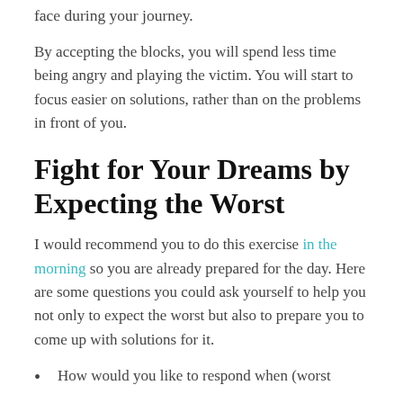face during your journey.
By accepting the blocks, you will spend less time being angry and playing the victim. You will start to focus easier on solutions, rather than on the problems in front of you.
Fight for Your Dreams by Expecting the Worst
I would recommend you to do this exercise in the morning so you are already prepared for the day. Here are some questions you could ask yourself to help you not only to expect the worst but also to prepare you to come up with solutions for it.
How would you like to respond when (worst